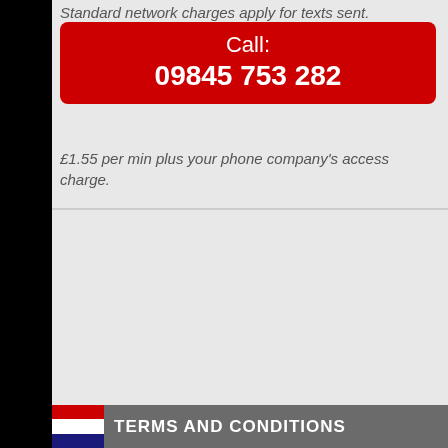Standard network charges apply for texts sent.
Call:
09845 753 282
£1.55 per min plus your phone company's access charge.
TERMS AND CONDITIONS